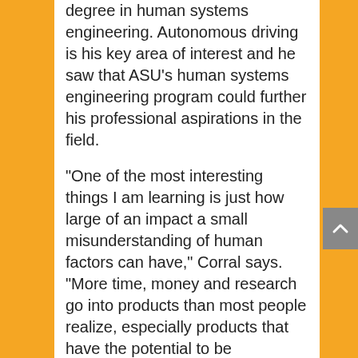degree in human systems engineering. Autonomous driving is his key area of interest and he saw that ASU's human systems engineering program could further his professional aspirations in the field.
“One of the most interesting things I am learning is just how large of an impact a small misunderstanding of human factors can have,” Corral says. “More time, money and research go into products than most people realize, especially products that have the potential to be dangerous.”
As vehicle technology becomes more advanced, primarily with new autonomous driving features, he says, “a surprising amount of effort is needed to